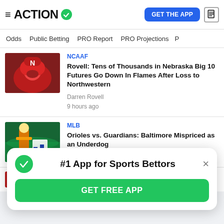ACTION
Odds | Public Betting | PRO Report | PRO Projections
NCAAF
Rovell: Tens of Thousands in Nebraska Big 10 Futures Go Down In Flames After Loss to Northwestern
Darren Rovell
9 hours ago
MLB
Orioles vs. Guardians: Baltimore Mispriced as an Underdog
D.J. James
#1 App for Sports Bettors
GET FREE APP